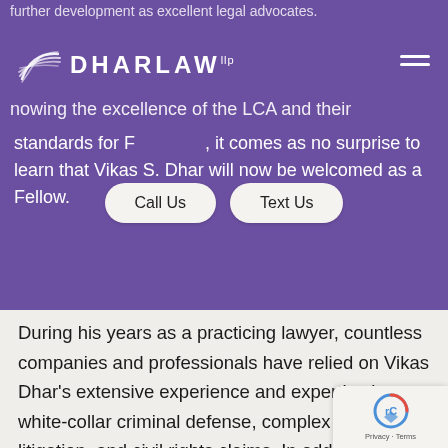DHARLAW llp
further development as excellent legal advocates. Knowing the excellence of the LCA and their standards for Fellows, it comes as no surprise to learn that Vikas S. Dhar will now be welcomed as a Fellow.
During his years as a practicing lawyer, countless companies and professionals have relied on Vikas Dhar’s extensive experience and expertise in white-collar criminal defense, complex civil litigation, and civil rights claims. In addition to the LCA recognition, Attorney Dhar has also been selected as a “Top 40 Under 40” criminal defense attorney and has been labeled a New England Super Lawyer/Rising Star by Boston Magazine for his